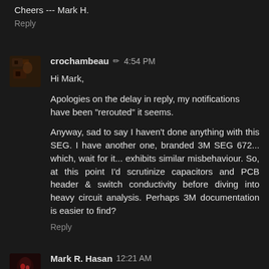Cheers --- Mark H.
Reply
crochambeau ✏ 4:54 PM
Hi Mark,

Apologies on the delay in reply, my notifications have been "rerouted" it seems.

Anyway, sad to say I haven't done anything with this SEG. I have another one, branded 3M SEG 672... which, wait for it... exhibits similar misbehaviour. So, at this point I'd scrutinize capacitors and PCB header & switch conductivity before diving into heavy circuit analysis. Perhaps 3M documentation is easier to find?
Reply
Mark R. Hasan  12:21 AM
Hi -